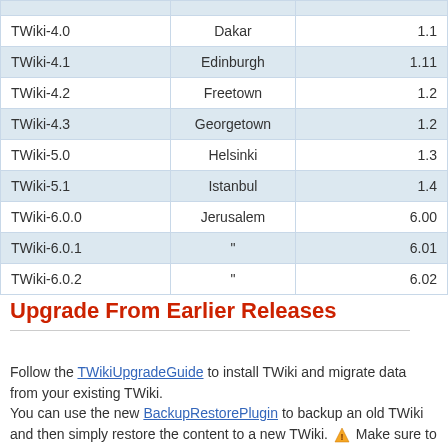|  |  |  |
| --- | --- | --- |
| TWiki-4.0 | Dakar | 1.1 |
| TWiki-4.1 | Edinburgh | 1.11 |
| TWiki-4.2 | Freetown | 1.2 |
| TWiki-4.3 | Georgetown | 1.2 |
| TWiki-5.0 | Helsinki | 1.3 |
| TWiki-5.1 | Istanbul | 1.4 |
| TWiki-6.0.0 | Jerusalem | 6.00 |
| TWiki-6.0.1 | " | 6.01 |
| TWiki-6.0.2 | " | 6.02 |
Upgrade From Earlier Releases
Follow the TWikiUpgradeGuide to install TWiki and migrate data from your existing TWiki.
You can use the new BackupRestorePlugin to backup an old TWiki and then simply restore the content to a new TWiki. ⚠ Make sure to exclude the TWiki web on restore!